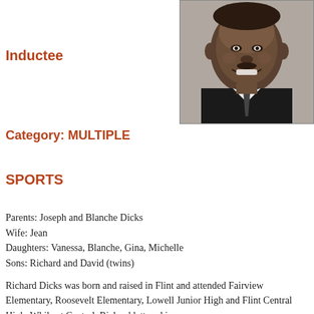[Figure (photo): Black and white headshot photograph of a smiling man in a suit and tie]
Inductee
Category: MULTIPLE
SPORTS
Parents: Joseph and Blanche Dicks
Wife: Jean
Daughters: Vanessa, Blanche, Gina, Michelle
Sons: Richard and David (twins)
Richard Dicks was born and raised in Flint and attended Fairview Elementary, Roosevelt Elementary, Lowell Junior High and Flint Central High. While at Central, Richard lettered in